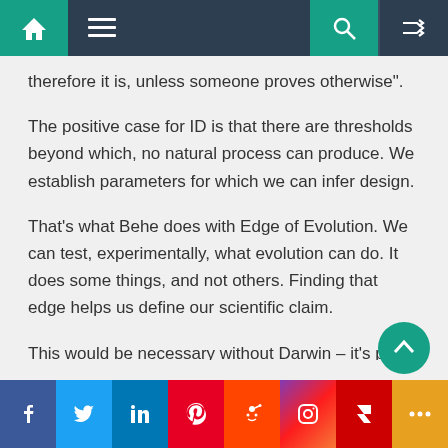Navigation bar with home, menu, search, and shuffle icons
therefore it is, unless someone proves otherwise".
The positive case for ID is that there are thresholds beyond which, no natural process can produce. We establish parameters for which we can infer design.
That’s what Behe does with Edge of Evolution. We can test, experimentally, what evolution can do. It does some things, and not others. Finding that edge helps us define our scientific claim.
This would be necessary without Darwin – it’s part of understanding the world.
Social sharing bar: Facebook, Twitter, LinkedIn, Pinterest, Reddit, Instagram, Flipboard, More